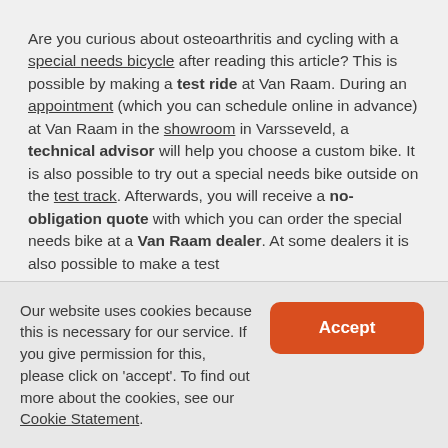Are you curious about osteoarthritis and cycling with a special needs bicycle after reading this article? This is possible by making a test ride at Van Raam. During an appointment (which you can schedule online in advance) at Van Raam in the showroom in Varsseveld, a technical advisor will help you choose a custom bike. It is also possible to try out a special needs bike outside on the test track. Afterwards, you will receive a no-obligation quote with which you can order the special needs bike at a Van Raam dealer. At some dealers it is also possible to make a test
Our website uses cookies because this is necessary for our service. If you give permission for this, please click on 'accept'. To find out more about the cookies, see our Cookie Statement.